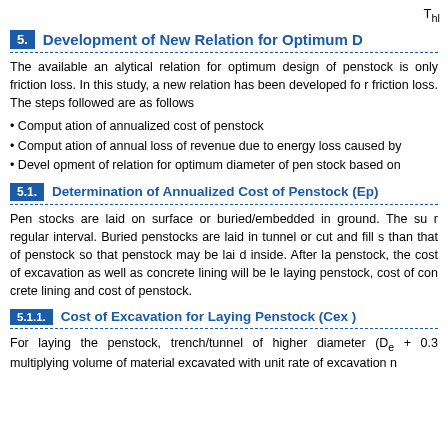Thl
5. Development of New Relation for Optimum D
The available analytical relation for optimum design of penstock is only friction loss. In this study, a new relation has been developed for friction loss. The steps followed are as follows
Computation of annualized cost of penstock
Computation of annual loss of revenue due to energy loss caused by
Development of relation for optimum diameter of penstock based on
5.1. Determination of Annualized Cost of Penstock (Ep)
Penstocks are laid on surface or buried/embedded in ground. The sur regular interval. Buried penstocks are laid in tunnel or cut and fill s than that of penstock so that penstock may be laid inside. After la penstock, the cost of excavation as well as concrete lining will be le laying penstock, cost of concrete lining and cost of penstock.
5.1.1. Cost of Excavation for Laying Penstock (Cex)
For laying the penstock, trench/tunnel of higher diameter (De + 0.3 multiplying volume of material excavated with unit rate of excavation n